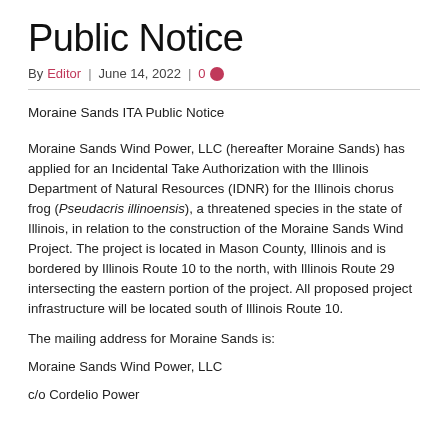Public Notice
By Editor | June 14, 2022 | 0
Moraine Sands ITA Public Notice
Moraine Sands Wind Power, LLC (hereafter Moraine Sands) has applied for an Incidental Take Authorization with the Illinois Department of Natural Resources (IDNR) for the Illinois chorus frog (Pseudacris illinoensis), a threatened species in the state of Illinois, in relation to the construction of the Moraine Sands Wind Project. The project is located in Mason County, Illinois and is bordered by Illinois Route 10 to the north, with Illinois Route 29 intersecting the eastern portion of the project. All proposed project infrastructure will be located south of Illinois Route 10.
The mailing address for Moraine Sands is:
Moraine Sands Wind Power, LLC
c/o Cordelio Power